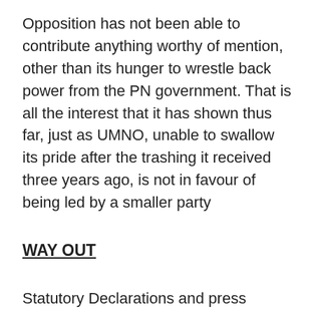Opposition has not been able to contribute anything worthy of mention, other than its hunger to wrestle back power from the PN government. That is all the interest that it has shown thus far, just as UMNO, unable to swallow its pride after the trashing it received three years ago, is not in favour of being led by a smaller party
WAY OUT
Statutory Declarations and press statements do not determine who gets to govern. The only way is through a vote on a motion of no confidence against the sitting Prime Minister in Parliament. That can be determined when Parliament assembles again. The worry is that if the Prime Minister loses support and his government imminently resigns, this vicious cycle of struggle for power will not end here. We have not yet achieve herd immunity to safely call